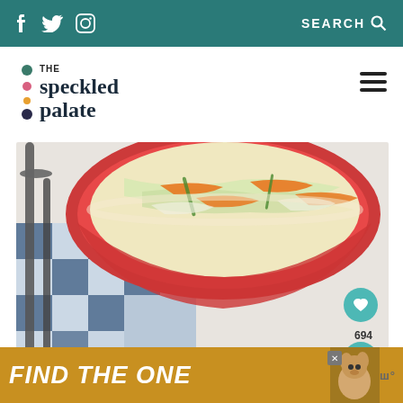f  𝕏  Instagram  SEARCH
[Figure (logo): The Speckled Palate logo with colorful dots]
[Figure (photo): Overhead photo of a red bowl filled with coleslaw (shredded cabbage, carrots, green onions) on a blue and white checkered cloth, with metal tongs to the left]
694
WHAT'S NEXT → Slow Cooker BBQ Chicke...
[Figure (photo): Small thumbnail of Slow Cooker BBQ Chicken dish]
FIND THE ONE